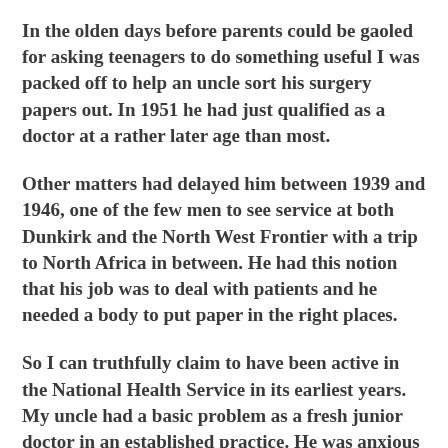In the olden days before parents could be gaoled for asking teenagers to do something useful I was packed off to help an uncle sort his surgery papers out.  In 1951 he had just qualified as a doctor at a rather later age than most.
Other matters had delayed him between 1939 and 1946, one of the few men to see service at both Dunkirk and the North West Frontier with a trip to North Africa in between.  He had this notion that his job was to deal with patients and he needed a body to put paper in the right places.
So I can truthfully claim to have been active in the National Health Service in its earliest years.  My uncle had a basic problem as a fresh junior doctor in an established practice.  He was anxious to fit in and